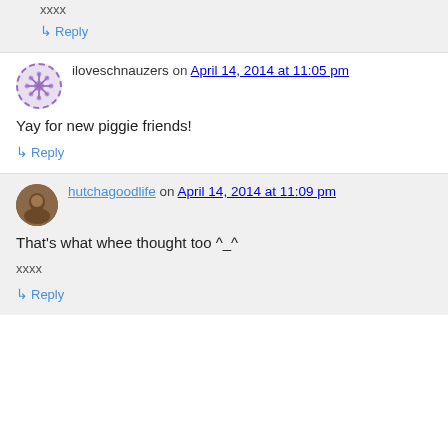xxxx
↳ Reply
iloveschnauzers on April 14, 2014 at 11:05 pm
Yay for new piggie friends!
↳ Reply
hutchagoodlife on April 14, 2014 at 11:09 pm
That's what whee thought too ^_^
xxxx
↳ Reply